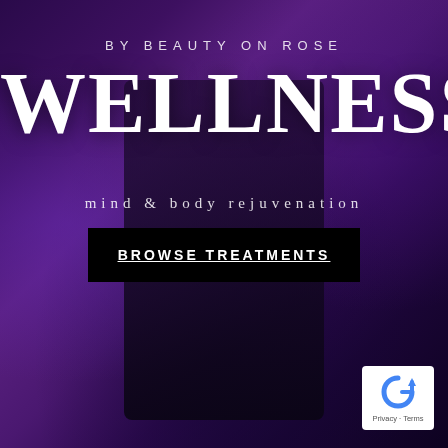[Figure (photo): Dark purple-toned background photo of a wellness spa environment with a person silhouette, purple ambient lighting]
BY BEAUTY ON ROSE
WELLNESS
mind & body rejuvenation
BROWSE TREATMENTS
[Figure (logo): Google reCAPTCHA badge with Privacy and Terms links]